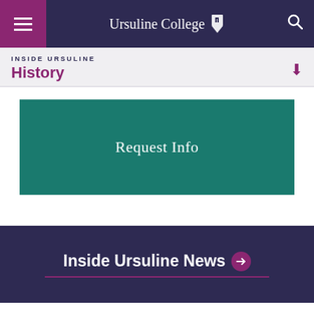Ursuline College
INSIDE URSULINE / History
[Figure (screenshot): Teal green Request Info button block]
Inside Ursuline News →